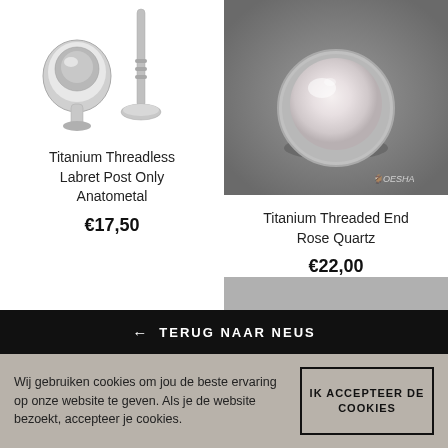[Figure (photo): Two titanium threadless labret posts, silver/chrome colored, one showing the disc top and one showing the post, on white background]
Titanium Threadless Labret Post Only Anatometal
€17,50
[Figure (photo): Close-up of a titanium threaded end with rose quartz stone, white/pink pearl-like ball on a grey background with Oesha watermark]
Titanium Threaded End Rose Quartz
€22,00
← TERUG NAAR NEUS
Wij gebruiken cookies om jou de beste ervaring op onze website te geven. Als je de website bezoekt, accepteer je cookies.
IK ACCEPTEER DE COOKIES